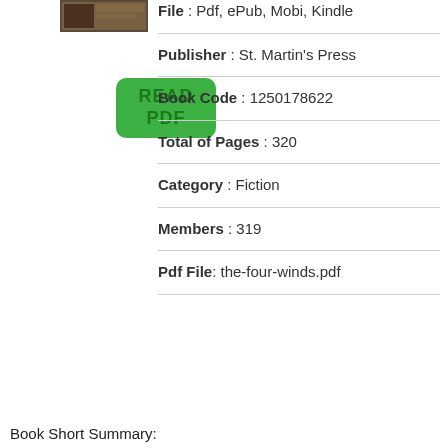[Figure (illustration): Small book cover thumbnail image]
[Figure (illustration): Green READ PDF button]
File : Pdf, ePub, Mobi, Kindle
Publisher : St. Martin's Press
Book Code : 1250178622
Total of Pages : 320
Category : Fiction
Members : 319
Pdf File: the-four-winds.pdf
Book Short Summary: